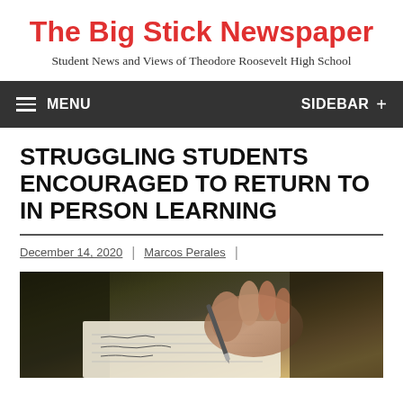The Big Stick Newspaper
Student News and Views of Theodore Roosevelt High School
MENU  SIDEBAR +
STRUGGLING STUDENTS ENCOURAGED TO RETURN TO IN PERSON LEARNING
December 14, 2020 | Marcos Perales |
[Figure (photo): Close-up photo of a hand holding a pen writing on paper, dark background]